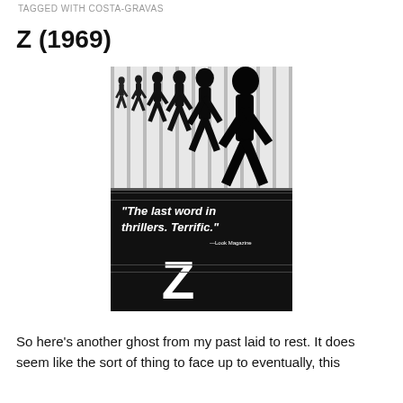TAGGED WITH COSTA-GRAVAS
Z (1969)
[Figure (photo): Movie poster for Z (1969) — black and white poster showing repeated silhouettes of a running figure across the top half, and a black bottom half with white bold text quoting 'The last word in thrillers. Terrific.' attributed to Look Magazine, with a large letter Z below.]
So here's another ghost from my past laid to rest. It does seem like the sort of thing to face up to eventually, this